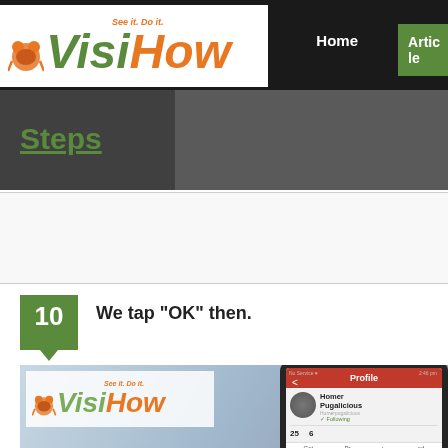VisiHow - See it. Do it. | Home | Articles
Steps
10  We tap "OK" then.
[Figure (screenshot): Screenshot showing VisiHow watermark logo on a blurred background, overlaid with a phone screen showing a user profile named Homer Pugalicious with stats showing 25 and 6, Profile header in red, and options for Get, Pr, and ed at the bottom.]